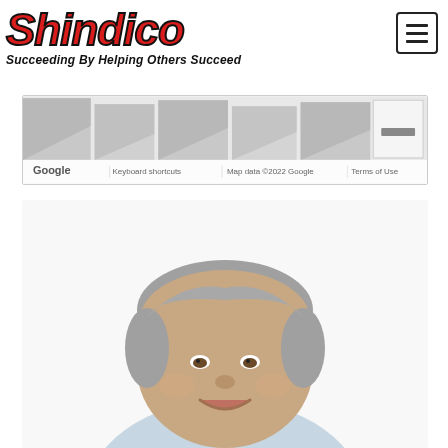[Figure (logo): Shindico logo in red bold italic text with black outline, tagline 'Succeeding By Helping Others Succeed' in bold italic below]
[Figure (screenshot): Google Maps satellite/street view screenshot showing building rooftops in gray, with Google watermark, 'Keyboard shortcuts', 'Map data ©2022 Google', and 'Terms of Use' text at the bottom, and a zoom-out button on the right side]
[Figure (photo): Professional headshot photo of a middle-aged man with gray hair, smiling, wearing a light blue collared shirt, photographed against a white background]